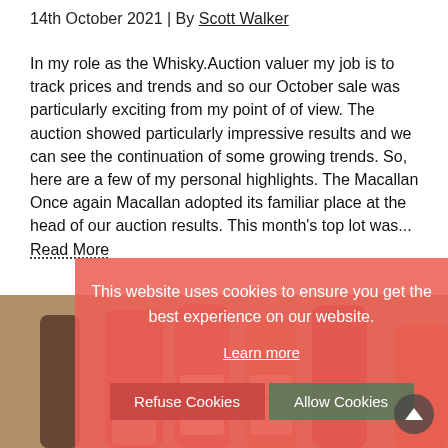14th October 2021 | By Scott Walker
In my role as the Whisky.Auction valuer my job is to track prices and trends and so our October sale was particularly exciting from my point of of view. The auction showed particularly impressive results and we can see the continuation of some growing trends. So, here are a few of my personal highlights. The Macallan Once again Macallan adopted its familiar place at the head of our auction results. This month's top lot was...
Read More
[Figure (screenshot): Cookie consent overlay on a whisky auction website showing a salmon/coral colored banner with text 'This website uses cookies to ensure you get the best experience on our website.' with 'Learn more' link, 'Refuse Cookies' and 'Allow Cookies' buttons. Below the overlay are whisky bottle product images including Macallan Gran Reserva, Laphroaig Vintage 1976, Lagavulin Aged 12 Years, and other bottles.]